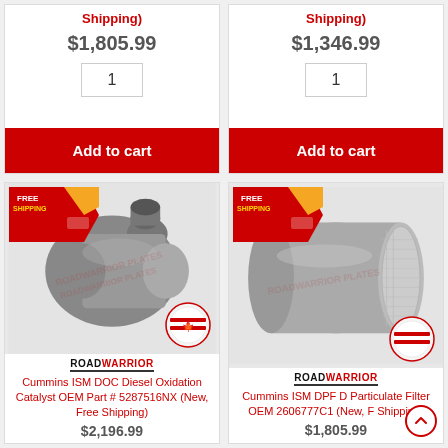Shipping)
$1,805.99
1
Add to cart
Shipping)
$1,346.99
1
Add to cart
[Figure (photo): Cummins ISM DOC Diesel Oxidation Catalyst part with Free Shipping badge and Road Warrior brand logo]
Cummins ISM DOC Diesel Oxidation Catalyst OEM Part # 5287516NX (New, Free Shipping)
$2,196.99
[Figure (photo): Cummins ISM DPF Diesel Particulate Filter part with Free Shipping badge and Road Warrior brand logo]
Cummins ISM DPF Diesel Particulate Filter OEM Part # 2606777C1 (New, Free Shipping)
$1,805.99